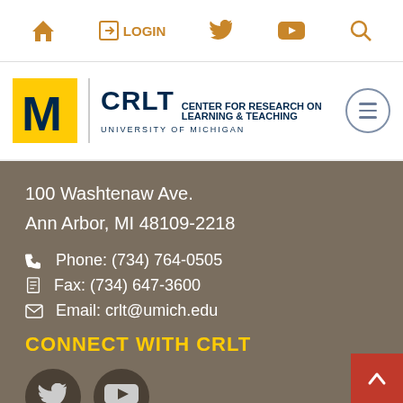Home | Login | Twitter | YouTube | Search
[Figure (logo): University of Michigan CRLT logo — block M in maize, vertical divider, CRLT Center for Research on Learning & Teaching, University of Michigan]
100 Washtenaw Ave.
Ann Arbor, MI 48109-2218
Phone: (734) 764-0505
Fax: (734) 647-3600
Email: crlt@umich.edu
CONNECT WITH CRLT
[Figure (illustration): Twitter bird icon in dark circle and YouTube logo in dark circle; back-to-top red button with up arrow]